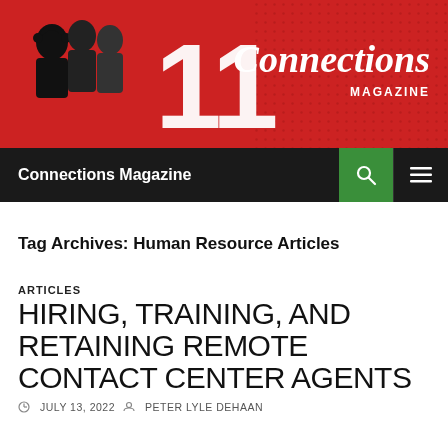[Figure (logo): Connections Magazine header banner with red background, silhouette figures of call center agents, and stylized decorative numbers. 'Connections MAGAZINE' text in white on the right side.]
Connections Magazine
Tag Archives: Human Resource Articles
ARTICLES
HIRING, TRAINING, AND RETAINING REMOTE CONTACT CENTER AGENTS
JULY 13, 2022  PETER LYLE DEHAAN